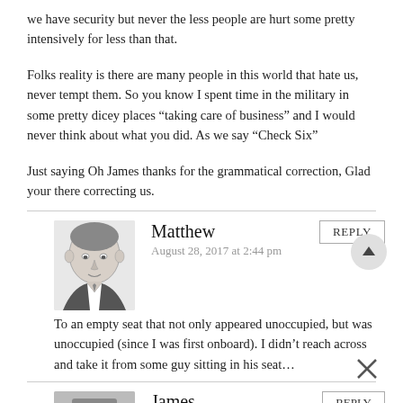we have security but never the less people are hurt some pretty intensively for less than that.
Folks reality is there are many people in this world that hate us, never tempt them. So you know I spent time in the military in some pretty dicey places “taking care of business” and I would never think about what you did. As we say “Check Six”
Just saying Oh James thanks for the grammatical correction, Glad your there correcting us.
Matthew
August 28, 2017 at 2:44 pm
To an empty seat that not only appeared unoccupied, but was unoccupied (since I was first onboard). I didn’t reach across and take it from some guy sitting in his seat...
James